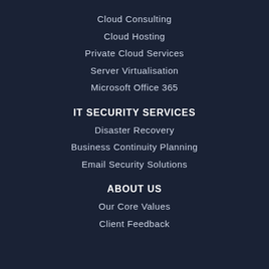Cloud Consulting
Cloud Hosting
Private Cloud Services
Server Virtualisation
Microsoft Office 365
IT SECURITY SERVICES
Disaster Recovery
Business Continuity Planning
Email Security Solutions
ABOUT US
Our Core Values
Client Feedback